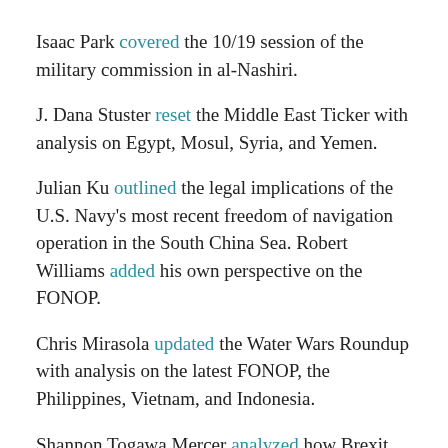Isaac Park covered the 10/19 session of the military commission in al-Nashiri.
J. Dana Stuster reset the Middle East Ticker with analysis on Egypt, Mosul, Syria, and Yemen.
Julian Ku outlined the legal implications of the U.S. Navy's most recent freedom of navigation operation in the South China Sea. Robert Williams added his own perspective on the FONOP.
Chris Mirasola updated the Water Wars Roundup with analysis on the latest FONOP, the Philippines, Vietnam, and Indonesia.
Shannon Togawa Mercer analyzed how Brexit negotiations will cover immigration issues.
J. Paul Pope reviewed David Priess's book, The President's Book of Secrets: The Untold Story of